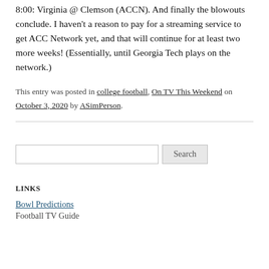8:00: Virginia @ Clemson (ACCN). And finally the blowouts conclude. I haven't a reason to pay for a streaming service to get ACC Network yet, and that will continue for at least two more weeks! (Essentially, until Georgia Tech plays on the network.)
This entry was posted in college football, On TV This Weekend on October 3, 2020 by ASimPerson.
Search
LINKS
Bowl Predictions
Football TV Guide